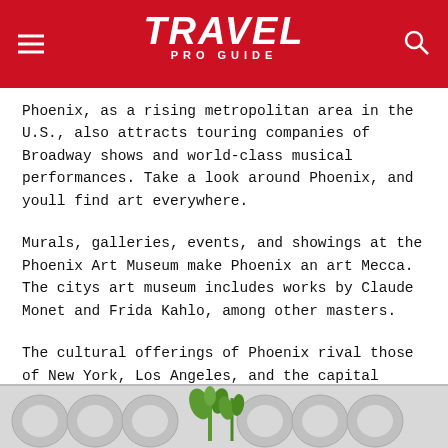TRAVEL PRO GUIDE
Phoenix, as a rising metropolitan area in the U.S., also attracts touring companies of Broadway shows and world-class musical performances. Take a look around Phoenix, and youll find art everywhere.
Murals, galleries, events, and showings at the Phoenix Art Museum make Phoenix an art Mecca. The citys art museum includes works by Claude Monet and Frida Kahlo, among other masters.
The cultural offerings of Phoenix rival those of New York, Los Angeles, and the capital cities of Europe. Best of all, traveling to Phoenix is less expensive than crossing the country or the Atlantic Ocean.
Splash About At Great Wolf Lodge Water Park
[Figure (photo): Partial image showing Scottsdale signage/letters at bottom of page]